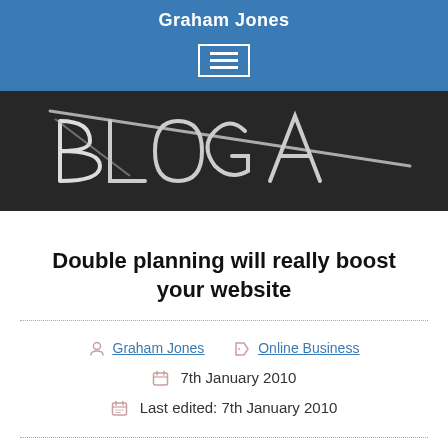Graham Jones
[Figure (screenshot): Dark chalkboard image with chalk writing/scribbles resembling the word PLAN or BLOG with crossed-out letters]
Double planning will really boost your website
Graham Jones   Online Business
7th January 2010
Last edited: 7th January 2010